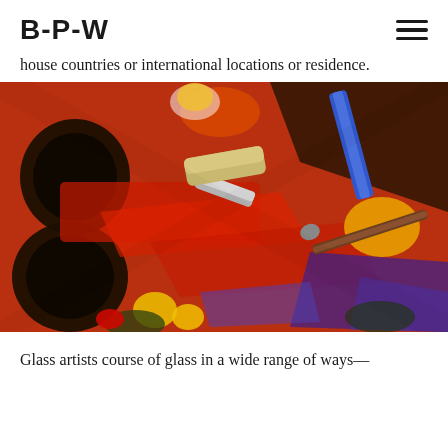B-P-W
house countries or international locations or residence.
[Figure (photo): Close-up photograph of an artist's paint palette covered in colorful oil paints (reds, yellows, blues, purples), paint tubes, palette knives, and brushes in a messy, creative arrangement.]
Glass artists course of glass in a wide range of ways—